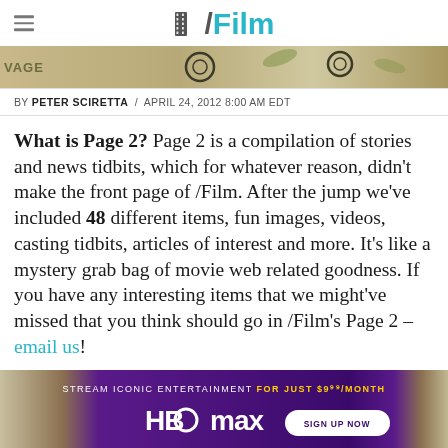/Film
[Figure (photo): Horizontal banner image showing illustrated/tattoo-style artwork with the word VAGE visible on the left, decorative elements including what appears to be a car and floral/leaf designs in muted tan and green tones]
BY PETER SCIRETTA / APRIL 24, 2012 8:00 AM EDT
What is Page 2? Page 2 is a compilation of stories and news tidbits, which for whatever reason, didn't make the front page of /Film. After the jump we've included 48 different items, fun images, videos, casting tidbits, articles of interest and more. It's like a mystery grab bag of movie web related goodness. If you have any interesting items that we might've missed that you think should go in /Film's Page 2 – email us!
[Figure (screenshot): HBO Max advertisement banner: 'STREAM ICONIC ENTERTAINMENT FOR JUST $9.99/MONTH' with HBO Max logo and SIGN UP NOW button on purple background]